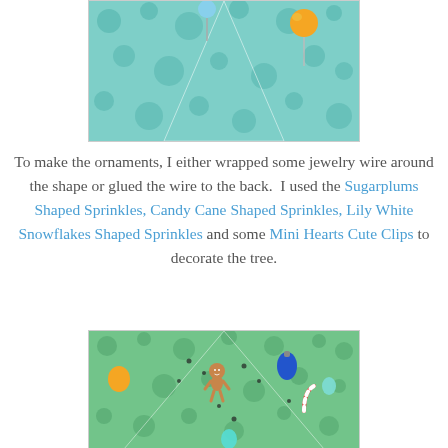[Figure (photo): Close-up photo of green polka-dot paper craft with blue and orange lollipop ornaments on white background]
To make the ornaments, I either wrapped some jewelry wire around the shape or glued the wire to the back.  I used the Sugarplums Shaped Sprinkles, Candy Cane Shaped Sprinkles, Lily White Snowflakes Shaped Sprinkles and some Mini Hearts Cute Clips to decorate the tree.
[Figure (photo): Close-up photo of green polka-dot paper Christmas tree craft decorated with gingerbread man, colorful ornament bulb shapes, candy cane, and other sprinkle decorations]